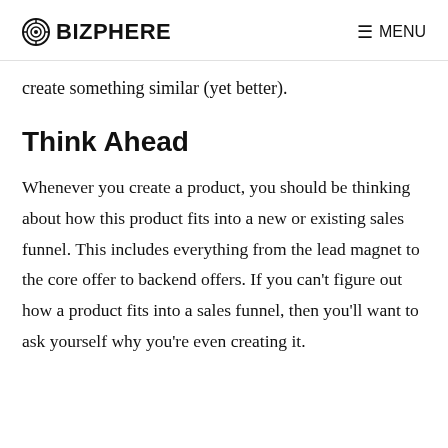BIZPHERE  ≡ MENU
create something similar (yet better).
Think Ahead
Whenever you create a product, you should be thinking about how this product fits into a new or existing sales funnel. This includes everything from the lead magnet to the core offer to backend offers. If you can't figure out how a product fits into a sales funnel, then you'll want to ask yourself why you're even creating it.